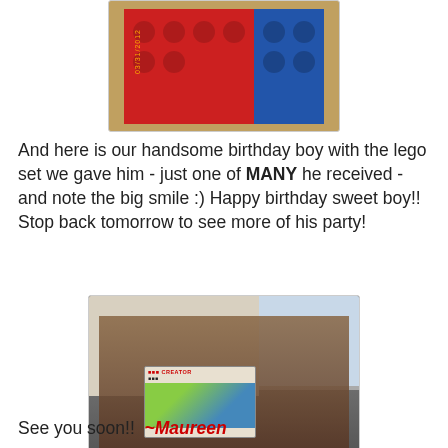[Figure (photo): Top-cropped photo showing red and blue LEGO pieces on a tan/brown surface, with a date stamp 03/31/2012 in orange on the left side.]
And here is our handsome birthday boy with the lego set we gave him - just one of MANY he received - and note the big smile :)  Happy birthday sweet boy!! Stop back tomorrow to see more of his party!
[Figure (photo): Photo of children smiling and holding a LEGO Creator set box. A blond child is behind a dark-haired smiling child holding up the LEGO Creator box. Another child is visible on the right.]
See you soon!!  ~Maureen